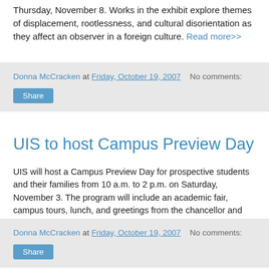Thursday, November 8. Works in the exhibit explore themes of displacement, rootlessness, and cultural disorientation as they affect an observer in a foreign culture. Read more>>
Donna McCracken at Friday, October 19, 2007   No comments:
Share
UIS to host Campus Preview Day
UIS will host a Campus Preview Day for prospective students and their families from 10 a.m. to 2 p.m. on Saturday, November 3. The program will include an academic fair, campus tours, lunch, and greetings from the chancellor and provost. Make a reservation>>
Donna McCracken at Friday, October 19, 2007   No comments:
Share